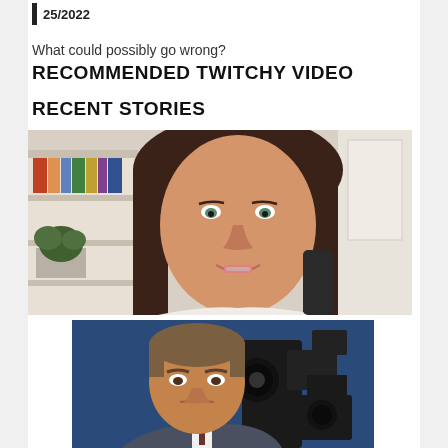25/2022
What could possibly go wrong?
RECOMMENDED TWITCHY VIDEO
RECENT STORIES
[Figure (photo): Woman with brown hair speaking, seated in front of a white bookshelf and office setting]
[Figure (photo): Man in suit looking at camera with news cameras visible in background with blue lighting]